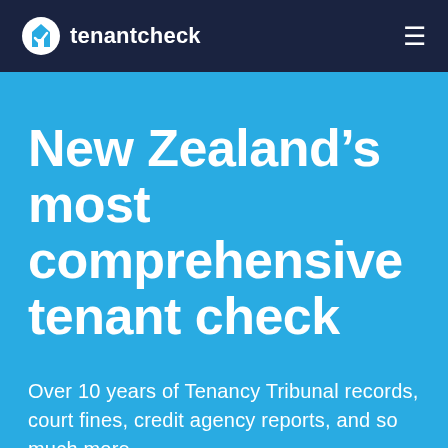tenantcheck
New Zealand’s most comprehensive tenant check
Over 10 years of Tenancy Tribunal records, court fines, credit agency reports, and so much more.